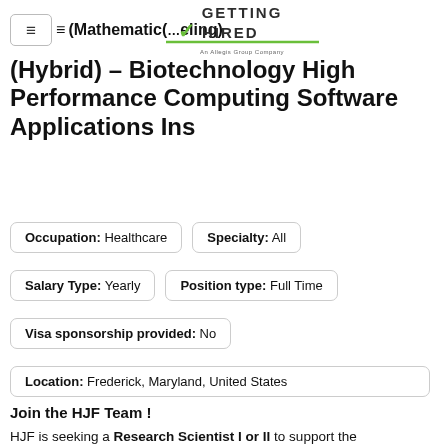≡ ( Mathematics ( eling )
[Figure (logo): Getting Hired logo with checkmark, An Allegis Group Company]
(Hybrid) – Biotechnology High Performance Computing Software Applications Ins
Occupation: Healthcare   Specialty: All
Salary Type: Yearly   Position type: Full Time
Visa sponsorship provided: No
Location: Frederick, Maryland, United States
Join the HJF Team !
HJF is seeking a Research Scientist I or II to support the Biotechnology High-Performance Computing Software Applications Institute (BHSAI)